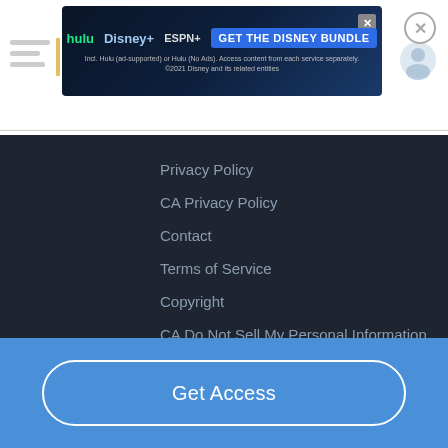[Figure (screenshot): Disney Bundle advertisement banner showing Hulu, Disney+, and ESPN+ logos with 'GET THE DISNEY BUNDLE' call-to-action button. Subtext: 'Incl. Hulu (ad-supported) or Hulu (No Ads). Access content from each service separately. ©2021 Disney and its related entities']
Privacy Policy
CA Privacy Policy
Contact
Terms of Service
Copyright
CA Do Not Sell My Personal Information
Get Access